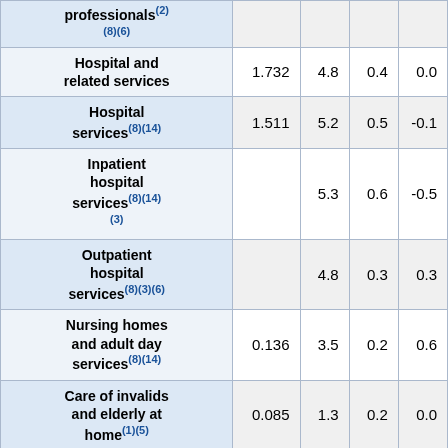| professionals(2)(8)(6) |  |  |  |  |
| Hospital and related services | 1.732 | 4.8 | 0.4 | 0.0 |
| Hospital services(8)(14) | 1.511 | 5.2 | 0.5 | -0.1 |
| Inpatient hospital services(8)(14)(3) |  | 5.3 | 0.6 | -0.5 |
| Outpatient hospital services(8)(3)(6) |  | 4.8 | 0.3 | 0.3 |
| Nursing homes and adult day services(8)(14) | 0.136 | 3.5 | 0.2 | 0.6 |
| Care of invalids and elderly at home(1)(5) | 0.085 | 1.3 | 0.2 | 0.0 |
| Health | 0.627 | 12.4 | 1.0 | 1.6 |